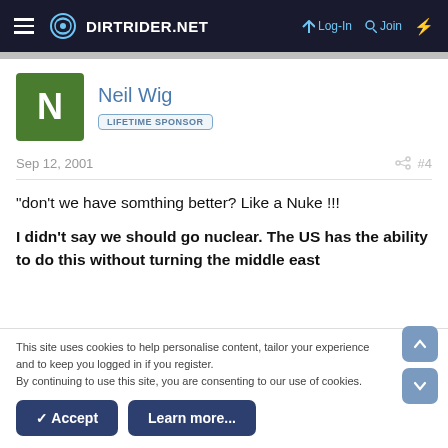DIRTRIDER.NET  Log-In  Join
Neil Wig
LIFETIME SPONSOR
Sep 12, 2001  #4
"don't we have somthing better? Like a Nuke !!!

I didn't say we should go nuclear. The US has the ability to do this without turning the middle east
This site uses cookies to help personalise content, tailor your experience and to keep you logged in if you register.
By continuing to use this site, you are consenting to our use of cookies.
Accept  Learn more...